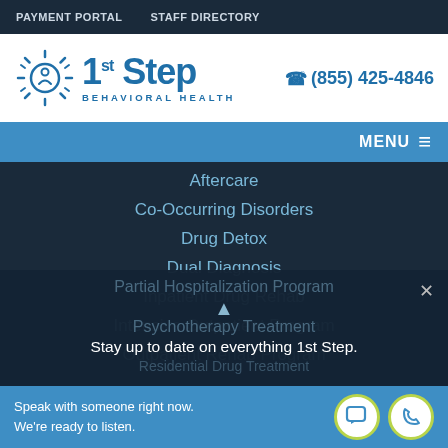PAYMENT PORTAL   STAFF DIRECTORY
[Figure (logo): 1st Step Behavioral Health logo with sun icon and phone number (855) 425-4846]
MENU
Aftercare
Co-Occurring Disorders
Drug Detox
Dual Diagnosis
Inpatient Drug Rehab
Intensive Outpatient Program
Outpatient Rehab Program
Partial Hospitalization Program
Psychotherapy Treatment
Residential Drug Treatment
Stay up to date on everything 1st Step.
Speak with someone right now. We're ready to listen.